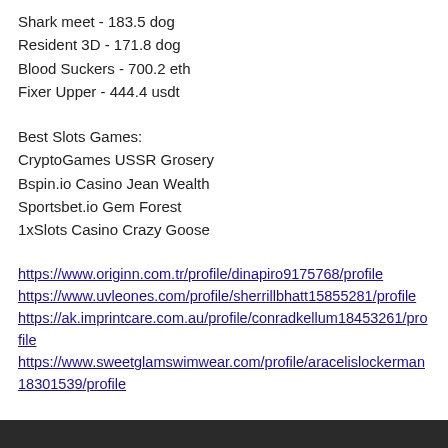Shark meet - 183.5 dog
Resident 3D - 171.8 dog
Blood Suckers - 700.2 eth
Fixer Upper - 444.4 usdt
Best Slots Games:
CryptoGames USSR Grosery
Bspin.io Casino Jean Wealth
Sportsbet.io Gem Forest
1xSlots Casino Crazy Goose
https://www.originn.com.tr/profile/dinapiro9175768/profile
https://www.uvleones.com/profile/sherrillbhatt15855281/profile
https://ak.imprintcare.com.au/profile/conradkellum18453261/profile
https://www.sweetglamswimwear.com/profile/aracelislockerman18301539/profile